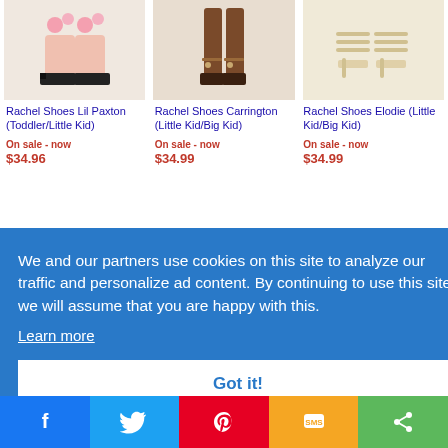[Figure (photo): Pink patent boots with pom-pom decoration (Rachel Shoes Lil Paxton)]
Rachel Shoes Lil Paxton (Toddler/Little Kid)
On sale - now
$34.96
[Figure (photo): Brown tall riding boots (Rachel Shoes Carrington Little Kid/Big Kid)]
Rachel Shoes Carrington (Little Kid/Big Kid)
On sale - now
$34.99
[Figure (photo): Cream strappy block heel sandals (Rachel Shoes Elodie Little Kid/Big Kid)]
Rachel Shoes Elodie (Little Kid/Big Kid)
On sale - now
$34.99
We and our partners use cookies on this site to analyze our traffic and personalize ad content. By continuing to use this site we will assume that you are happy with this.
Learn more
Got it!
s Lil